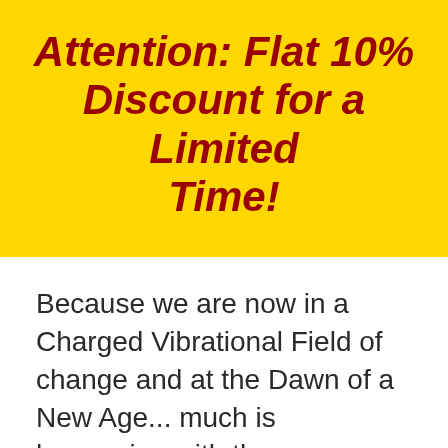Attention: Flat 10% Discount for a Limited Time!
Because we are now in a Charged Vibrational Field of change and at the Dawn of a New Age... much is happening with the awakening of Souls who came here to facilitate this transformation.